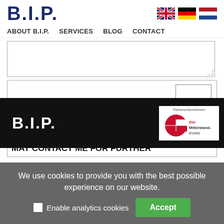[Figure (logo): B.I.P. logo in dark blue bold text]
[Figure (other): UK, German, and Dutch flag icons]
ABOUT B.I.P.   SERVICES   BLOG   CONTACT
[Figure (other): Text area input field]
[Figure (other): Checkbox form field with captcha box]
I HAVE READ AND ACCEPTED THE PRIVACY POLICY. I AGREE THAT YOU MAY CONTACT ME FOR FURTHER
[Figure (logo): B.I.P. logo in white on dark background]
[Figure (logo): Partnerunternehmen Der Mittelstand. BVMW logo]
We use cookies to provide you with the best possible experience on our website.
Enable analytics cookies
Accept